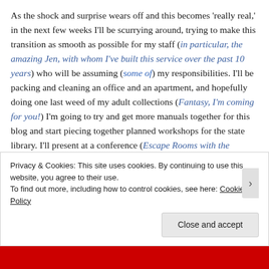As the shock and surprise wears off and this becomes 'really real,' in the next few weeks I'll be scurrying around, trying to make this transition as smooth as possible for my staff (in particular, the amazing Jen, with whom I've built this service over the past 10 years) who will be assuming (some of) my responsibilities. I'll be packing and cleaning an office and an apartment, and hopefully doing one last weed of my adult collections (Fantasy, I'm coming for you!) I'm going to try and get more manuals together for this blog and start piecing together planned workshops for the state library. I'll present at a conference (Escape Rooms with the marvelous Marissa!) I'll run a few more programs. I'll start moving (very, VERY temporarily to my family home as I look for
Privacy & Cookies: This site uses cookies. By continuing to use this website, you agree to their use. To find out more, including how to control cookies, see here: Cookie Policy
Close and accept